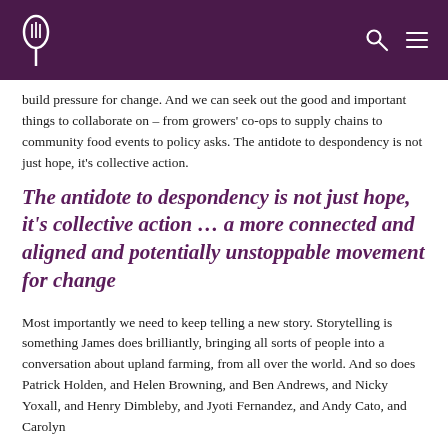build pressure for change. And we can seek out the good and important things to collaborate on – from growers' co-ops to supply chains to community food events to policy asks. The antidote to despondency is not just hope, it's collective action.
The antidote to despondency is not just hope, it's collective action … a more connected and aligned and potentially unstoppable movement for change
Most importantly we need to keep telling a new story. Storytelling is something James does brilliantly, bringing all sorts of people into a conversation about upland farming, from all over the world. And so does Patrick Holden, and Helen Browning, and Ben Andrews, and Nicky Yoxall, and Henry Dimbleby, and Jyoti Fernandez, and Andy Cato, and Carolyn